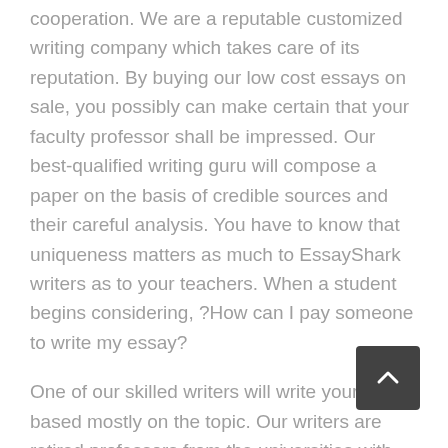cooperation. We are a reputable customized writing company which takes care of its reputation. By buying our low cost essays on sale, you possibly can make certain that your faculty professor shall be impressed. Our best-qualified writing guru will compose a paper on the basis of credible sources and their careful analysis. You have to know that uniqueness matters as much to EssayShark writers as to your teachers. When a student begins considering, ?How can I pay someone to write my essay?
One of our skilled writers will write your essay based mostly on the topic. Our writers are retired professors from the universities with years of experience in tutorial writing. We assure grades because our writers provide